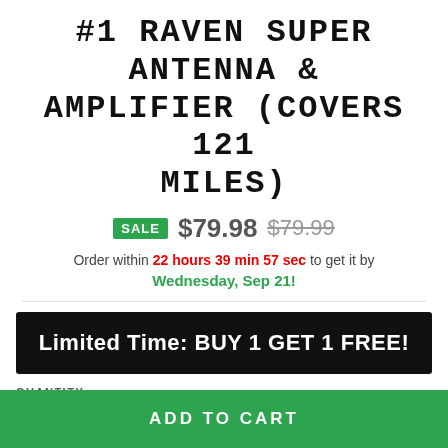#1 RAVEN SUPER ANTENNA & AMPLIFIER (COVERS 121 MILES)
SALE $79.98 $79.99
Order within 22 hours 39 min 57 sec to get it by Wednesday, Sep 21!
Limited Time: BUY 1 GET 1 FREE!
QUANTITY
1
ADD TO CART